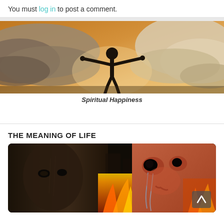You must log in to post a comment.
[Figure (photo): Silhouette of a person with arms outstretched against a dramatic golden cloudy sky background (Spiritual Happiness)]
Spiritual Happiness
THE MEANING OF LIFE
[Figure (photo): Composite image showing a dark mysterious face on the left and a crying child surrounded by fire on the right]